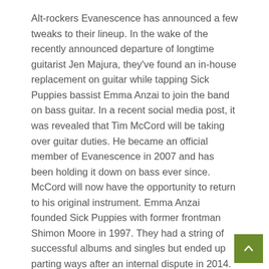Alt-rockers Evanescence has announced a few tweaks to their lineup. In the wake of the recently announced departure of longtime guitarist Jen Majura, they've found an in-house replacement on guitar while tapping Sick Puppies bassist Emma Anzai to join the band on bass guitar. In a recent social media post, it was revealed that Tim McCord will be taking over guitar duties. He became an official member of Evanescence in 2007 and has been holding it down on bass ever since. McCord will now have the opportunity to return to his original instrument. Emma Anzai founded Sick Puppies with former frontman Shimon Moore in 1997. They had a string of successful albums and singles but ended up parting ways after an internal dispute in 2014. Vocalist Bryon Scott joined for 2015's Fury album. As...